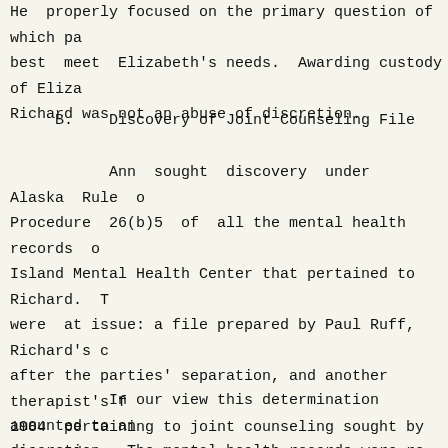He  properly focused on the primary question of which pa best  meet  Elizabeth's needs.  Awarding custody of Eliza Richard was not an abuse of discretion.
B.    Discovery of Joint Counseling File
Ann  sought  discovery  under  Alaska  Rule  o Procedure  26(b)5  of  all the mental health  records  o Island Mental Health Center that pertained to Richard.  T were  at issue: a file prepared by Paul Ruff, Richard's c after the parties' separation, and another therapist's f 1984  pertaining to joint counseling sought by Ann  and The  trial  court permitted discovery of the recent recor not  the  records from 1984.  The court did not  deny  a these records on the basis that they were privileged, bu it determined them to be irrelevant.
In our view this determination amounted to an discretion.  The mental health records were re bl